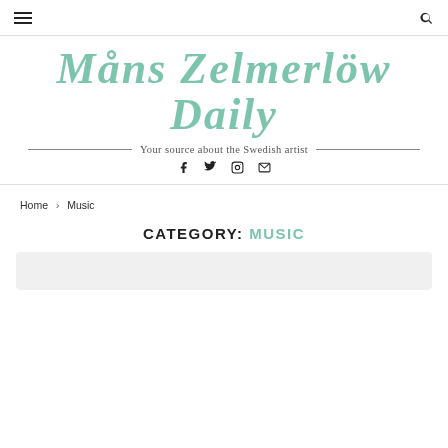≡  [search icon]
Måns Zelmerlöw Daily
Your source about the Swedish artist
Social icons: Facebook, Twitter, Instagram, Email
Home › Music
CATEGORY: MUSIC